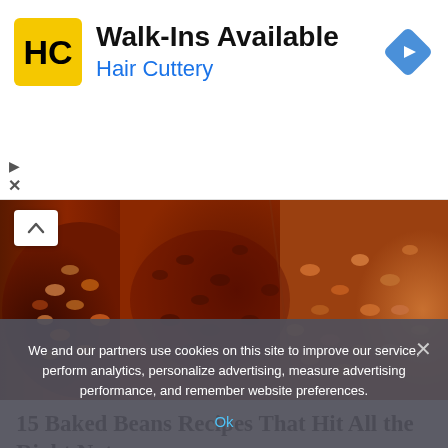[Figure (logo): Hair Cuttery advertisement banner with HC logo, 'Walk-Ins Available' text, blue 'Hair Cuttery' subtitle, and blue navigation arrow diamond icon on the right]
[Figure (photo): Close-up photo of baked beans in pots — dark rich brown sauce with beans on the left, and lighter orange-sauced beans on the right]
15 Baked Beans Recipes That Hit All the Right Notes
We and our partners use cookies on this site to improve our service, perform analytics, personalize advertising, measure advertising performance, and remember website preferences.
Ok